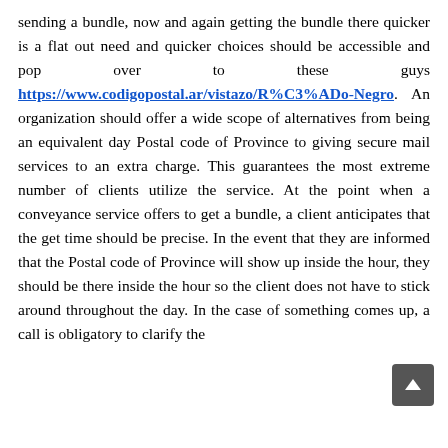sending a bundle, now and again getting the bundle there quicker is a flat out need and quicker choices should be accessible and pop over to these guys https://www.codigopostal.ar/vistazo/R%C3%ADo-Negro. An organization should offer a wide scope of alternatives from being an equivalent day Postal code of Province to giving secure mail services to an extra charge. This guarantees the most extreme number of clients utilize the service. At the point when a conveyance service offers to get a bundle, a client anticipates that the get time should be precise. In the event that they are informed that the Postal code of Province will show up inside the hour, they should be there inside the hour so the client does not have to stick around throughout the day. In the case of something comes up, a call is obligatory to clarify the